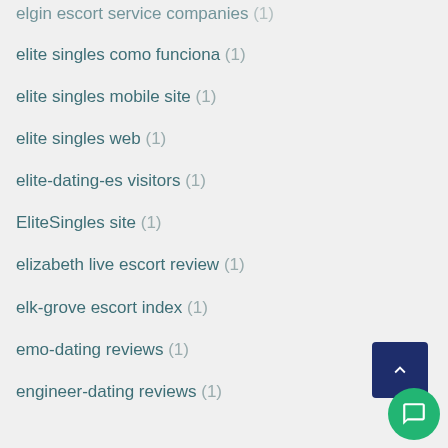elgin escort service companies (1)
elite singles como funciona (1)
elite singles mobile site (1)
elite singles web (1)
elite-dating-es visitors (1)
EliteSingles site (1)
elizabeth live escort review (1)
elk-grove escort index (1)
emo-dating reviews (1)
engineer-dating reviews (1)